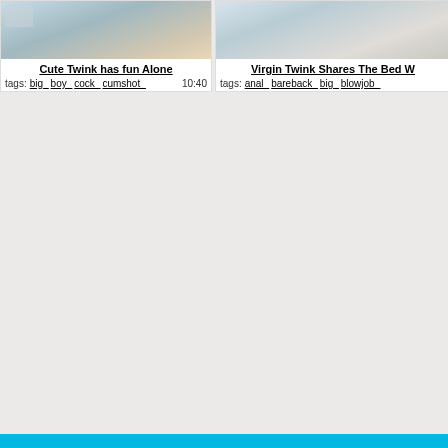[Figure (screenshot): Thumbnail image for video card 1 - partial crop of person]
Cute Twink has fun Alone
tags: big_ boy_ cock_ cumshot_   10:40
[Figure (screenshot): Thumbnail image for video card 2 - partial crop of person on bed]
Virgin Twink Shares The Bed W
tags: anal_ bareback_ big_ blowjob_